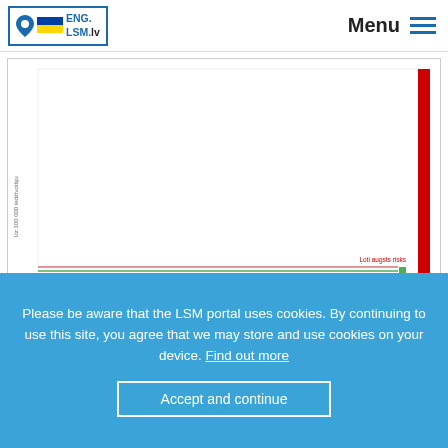ENG. LSM.lv   Menu
[Figure (continuous-plot): Line chart showing 14-day cumulative COVID-19 incidence per 100,000 population. A nearly flat red line and green line run across the bottom of the chart with a dramatic spike (red bar) at the far right reaching close to maximum. Label 'Ļoti augsts risks' (Very high risk) appears on the right side. Y-axis label: 'Uz 100 000 iedzivotaju'. Footer: '14 dienu kumulativā saslimstība, uz 100 000 iedz.' Source: Slimību profilakses un kontroles centrs © SPKC, 2022. Data updated: Dati atjaunoti 02.09.2022.']
← ir fore                                                  saistītie ➔ Engure
Please be aware that the LSM portal uses cookies. By continuing to use this site, you agree that we may store and use cookies on your device. Find out more
Accept and continue